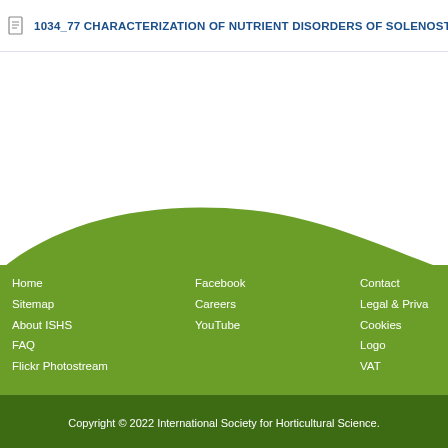1034_77 CHARACTERIZATION OF NUTRIENT DISORDERS OF SOLENOST...
Home
Sitemap
About ISHS
FAQ
Flickr Photostream
Facebook
Careers
YouTube
Contact
Legal & Priva...
Cookies
Logo
VAT
Copyright © 2022 International Society for Horticultural Science.